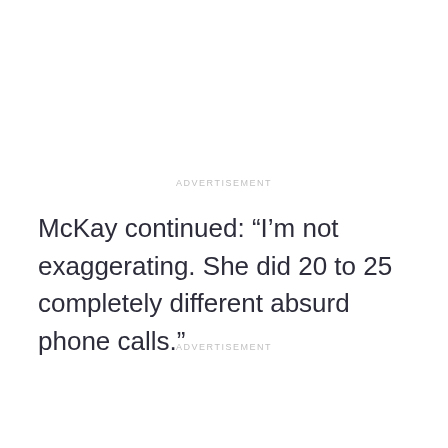ADVERTISEMENT
McKay continued: “I’m not exaggerating. She did 20 to 25 completely different absurd phone calls.”
ADVERTISEMENT